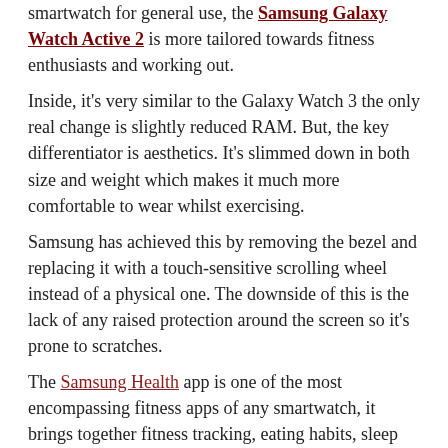smartwatch for general use, the Samsung Galaxy Watch Active 2 is more tailored towards fitness enthusiasts and working out.
Inside, it's very similar to the Galaxy Watch 3 the only real change is slightly reduced RAM. But, the key differentiator is aesthetics. It's slimmed down in both size and weight which makes it much more comfortable to wear whilst exercising.
Samsung has achieved this by removing the bezel and replacing it with a touch-sensitive scrolling wheel instead of a physical one. The downside of this is the lack of any raised protection around the screen so it's prone to scratches.
The Samsung Health app is one of the most encompassing fitness apps of any smartwatch, it brings together fitness tracking, eating habits, sleep patterns, and more. The accuracy is further improved upon with the watch's built-in ECG.
As with the Galaxy Watch 3, you can exercise without the